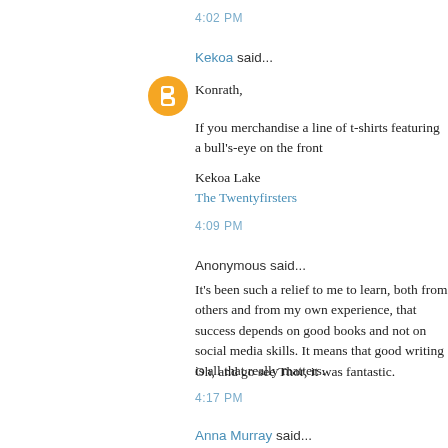4:02 PM
Kekoa said...
Konrath,
If you merchandise a line of t-shirts featuring a bull's-eye on the front
Kekoa Lake
The Twentyfirsters
4:09 PM
Anonymous said...
It's been such a relief to me to learn, both from others and from my own experience, that success depends on good books and not on social media skills. It means that good writing is all that really matters.
Oh, and go see Thor, it was fantastic.
4:17 PM
Anna Murray said...